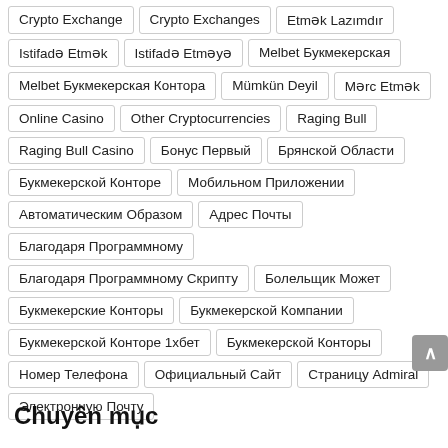Crypto Exchange
Crypto Exchanges
Etmək Lazımdır
Istifadə Etmək
Istifadə Etməyə
Melbet Букмекерская
Melbet Букмекерская Контора
Mümkün Deyil
Mərc Etmək
Online Casino
Other Cryptocurrencies
Raging Bull
Raging Bull Casino
Бонус Первый
Брянской Области
Букмекерской Конторе
Мобильном Приложении
Автоматическим Образом
Адрес Почты
Благодаря Программному
Благодаря Программному Скрипту
Болельщик Может
Букмекерские Конторы
Букмекерской Компании
Букмекерской Конторе 1хбет
Букмекерской Конторы
Номер Телефона
Официальный Сайт
Страницу Admiral
Электронную Почту
Chuyên mục